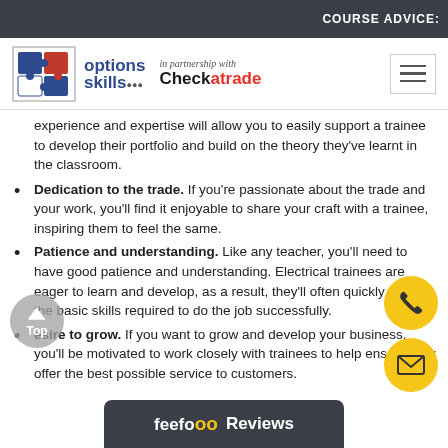COURSE ADVICE:
[Figure (logo): Options Skills logo in partnership with Checkatrade, with hamburger menu icon]
experience and expertise will allow you to easily support a trainee to develop their portfolio and build on the theory they've learnt in the classroom.
Dedication to the trade. If you're passionate about the trade and your work, you'll find it enjoyable to share your craft with a trainee, inspiring them to feel the same.
Patience and understanding. Like any teacher, you'll need to have good patience and understanding. Electrical trainees are eager to learn and develop, as a result, they'll often quickly pick up the basic skills required to do the job successfully.
Desire to grow. If you want to grow and develop your business, you'll be motivated to work closely with trainees to help ensure they offer the best possible service to customers.